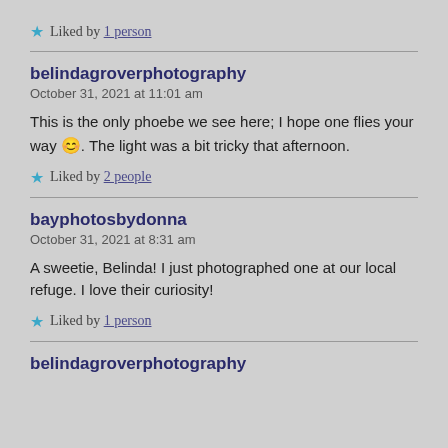★ Liked by 1 person
belindagroverphotography
October 31, 2021 at 11:01 am

This is the only phoebe we see here; I hope one flies your way 😊. The light was a bit tricky that afternoon.

★ Liked by 2 people
bayphotosbydonna
October 31, 2021 at 8:31 am

A sweetie, Belinda! I just photographed one at our local refuge. I love their curiosity!

★ Liked by 1 person
belindagroverphotography